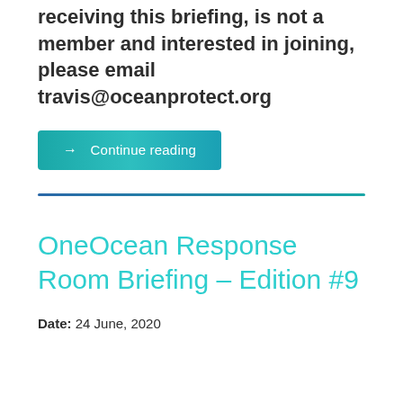receiving this briefing, is not a member and interested in joining, please email travis@oceanprotect.org
→ Continue reading
OneOcean Response Room Briefing – Edition #9
Date: 24 June, 2020